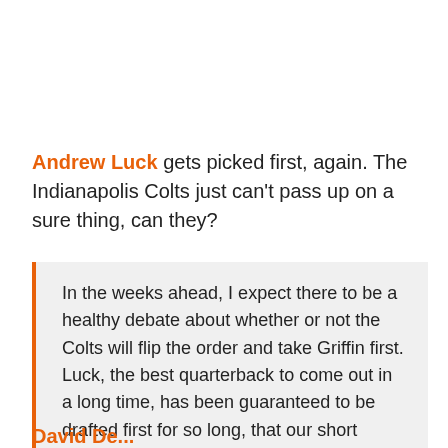Andrew Luck gets picked first, again. The Indianapolis Colts just can't pass up on a sure thing, can they?
In the weeks ahead, I expect there to be a healthy debate about whether or not the Colts will flip the order and take Griffin first. Luck, the best quarterback to come out in a long time, has been guaranteed to be drafted first for so long, that our short attention spans forget just how good he is because we are not bombarded with daily reminders.
David De...